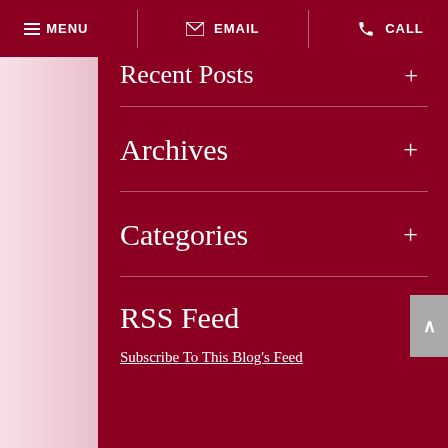MENU  EMAIL  CALL
Recent Posts +
Archives +
Categories +
RSS Feed
Subscribe To This Blog's Feed